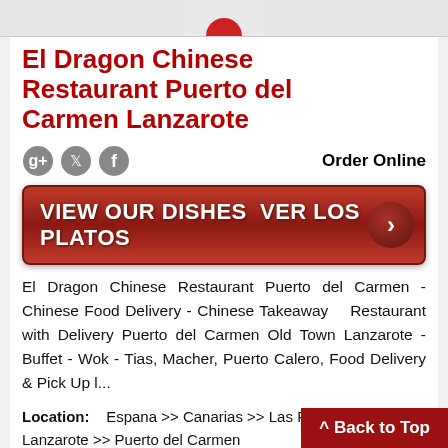[Figure (illustration): Top bar with partial logo/image visible (red icon at top)]
El Dragon Chinese Restaurant Puerto del Carmen Lanzarote
[Figure (infographic): Social media icons (Google+, Twitter, Facebook) and 'Order Online' text, followed by a red button: VIEW OUR DISHES VER LOS PLATOS with arrow]
El Dragon Chinese Restaurant Puerto del Carmen - Chinese Food Delivery - Chinese Takeaway Restaurant with Delivery Puerto del Carmen Old Town Lanzarote - Buffet - Wok - Tias, Macher, Puerto Calero, Food Delivery & Pick Up l...
Location: Espana >> Canarias >> Las Palmas >> Lanzarote >> Puerto del Carmen
Category: Chinese Re... Takeaways Restaurant Partner
^ Back to Top